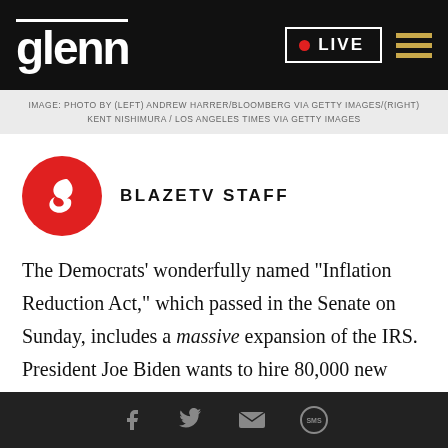glenn LIVE
IMAGE: PHOTO BY (LEFT) ANDREW HARRER/BLOOMBERG VIA GETTY IMAGES/(RIGHT) KENT NISHIMURA / LOS ANGELES TIMES VIA GETTY IMAGES
[Figure (logo): BlazeTV logo: red circle with white flame/B icon]
BLAZETV STAFF
The Democrats' wonderfully named "Inflation Reduction Act," which passed in the Senate on Sunday, includes a massive expansion of the IRS. President Joe Biden wants to hire 80,000 new
Social share icons: Facebook, Twitter, Email, SMS